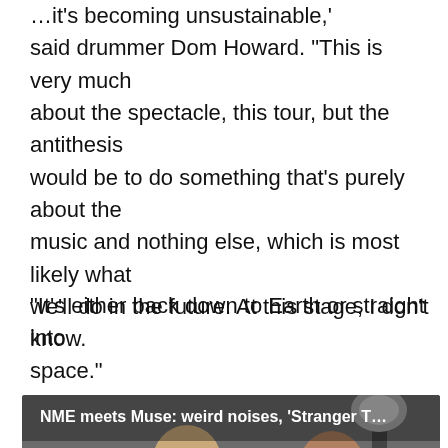…it's becoming unsustainable,' said drummer Dom Howard. “This is very much about the spectacle, this tour, but the antithesis would be to do something that’s purely about the music and nothing else, which is most likely what we’ll do in the future. At this stage, I don’t know.
“It’s either back down to Earth or straight into space.”
[Figure (screenshot): Video thumbnail showing two men at a photoshoot studio with lighting equipment, with a white play button triangle overlay. Title reads: NME meets Muse: weird noises, ‘Stranger T…']